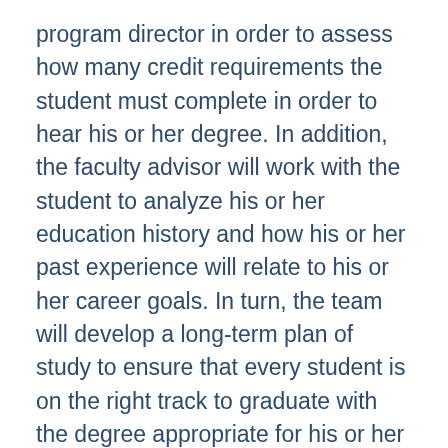program director in order to assess how many credit requirements the student must complete in order to hear his or her degree. In addition, the faculty advisor will work with the student to analyze his or her education history and how his or her past experience will relate to his or her career goals. In turn, the team will develop a long-term plan of study to ensure that every student is on the right track to graduate with the degree appropriate for his or her future career.
Students must complete 36 credits in order to earn their Master of Science in Nursing in Nursing Administration degree. The 15-credit